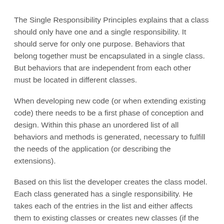The Single Responsibility Principles explains that a class should only have one and a single responsibility. It should serve for only one purpose. Behaviors that belong together must be encapsulated in a single class. But behaviors that are independent from each other must be located in different classes.
When developing new code (or when extending existing code) there needs to be a first phase of conception and design. Within this phase an unordered list of all behaviors and methods is generated, necessary to fulfill the needs of the application (or describing the extensions).
Based on this list the developer creates the class model. Each class generated has a single responsibility. He takes each of the entries in the list and either affects them to existing classes or creates new classes (if the responsibility is not yet covered).
When looking at the following (very simple) example it becomes clear what needs to be done.